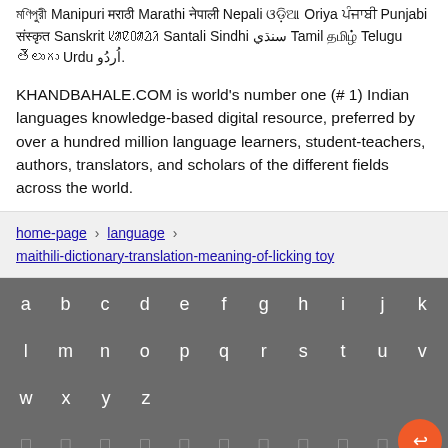মণিপুরী Manipuri মराठी Marathi नेपाली Nepali ଓଡ଼ିଆ Oriya ਪੰਜਾਬੀ Punjabi संस्कृत Sanskrit ᱥᱟᱱᱛᱟᱲᱤ Santali Sindhi سنڌي Tamil தமிழ் Telugu తెలుగు Urdu اُردُو.
KHANDBAHALE.COM is world's number one (# 1) Indian languages knowledge-based digital resource, preferred by over a hundred million language learners, student-teachers, authors, translators, and scholars of the different fields across the world.
home-page › language › maithili-dictionary-translation-meaning-of-licking toy
[Figure (screenshot): On-screen keyboard showing letters a-z in a gray keyboard layout with orange action button]